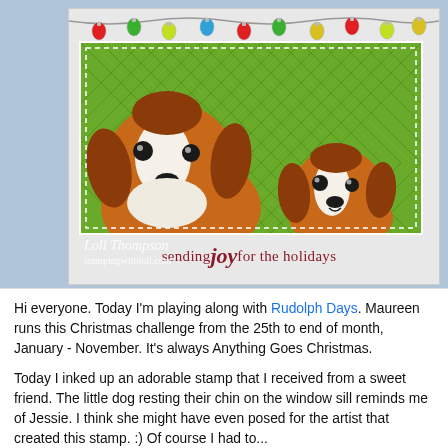[Figure (photo): A handmade Christmas card featuring two Cavalier King Charles Spaniel dogs on a green argyle background, with colorful Christmas light bulbs along the top wire. The card reads 'sending joy for the holidays'. Watermark reads 'Loll Thompson stampingwithloll.com'.]
Hi everyone.  Today I'm playing along with Rudolph Days.  Maureen runs this Christmas challenge from the 25th to end of month, January - November.  It's always Anything Goes Christmas.
Today I inked up an adorable stamp that I received from a sweet friend.  The little dog resting their chin on the window sill reminds me of Jessie.  I think she might have even posed for the artist that created this stamp. :) Of course I had to...